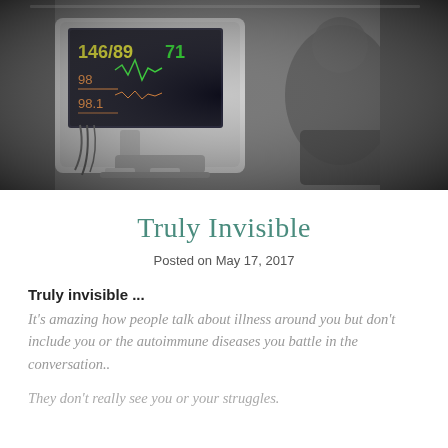[Figure (photo): Black and white photograph of a medical vital signs monitor displaying 146/89, 71, 98, 98.1 readings, with a patient reclining in a chair in the background.]
Truly Invisible
Posted on May 17, 2017
Truly invisible ...
It's amazing how people talk about illness around you but don't include you or the autoimmune diseases you battle in the conversation..
They don't really see you or your struggles.